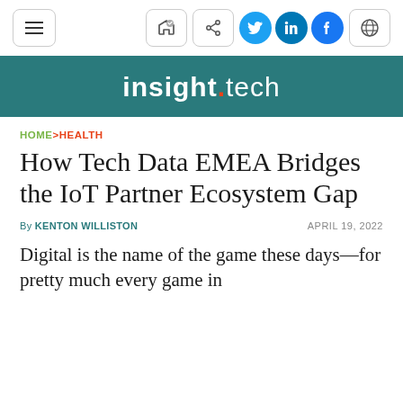insight.tech
HOME>HEALTH
How Tech Data EMEA Bridges the IoT Partner Ecosystem Gap
By KENTON WILLISTON   APRIL 19, 2022
Digital is the name of the game these days—for pretty much every game in